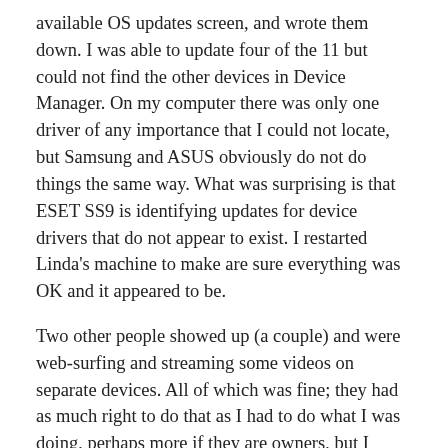available OS updates screen, and wrote them down.  I was able to update four of the 11 but could not find the other devices in Device Manager.  On my computer there was only one driver of any importance that I could not locate, but Samsung and ASUS obviously do not do things the same way.  What was surprising is that ESET SS9 is identifying updates for device drivers that do not appear to exist.  I restarted Linda's machine to make are sure everything was OK and it appeared to be.
Two other people showed up (a couple) and were web-surfing and streaming some videos on separate devices.  All of which was fine; they had as much right to do that as I had to do what I was doing, perhaps more if they are owners, but I doubt that any of us were getting great data speed.  I started the update for Adobe Lightroom CC (2105) on Linda's computer anyway, knowing that it was approximately 300 MB and would likely take a while.  Linda has lost her voice so I texted her the status of my work and suggested that she